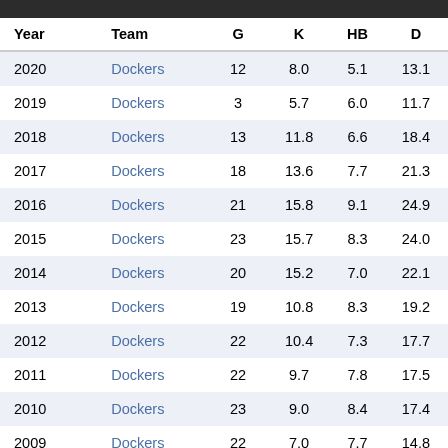| Year | Team | G | K | HB | D |
| --- | --- | --- | --- | --- | --- |
| 2020 | Dockers | 12 | 8.0 | 5.1 | 13.1 |
| 2019 | Dockers | 3 | 5.7 | 6.0 | 11.7 |
| 2018 | Dockers | 13 | 11.8 | 6.6 | 18.4 |
| 2017 | Dockers | 18 | 13.6 | 7.7 | 21.3 |
| 2016 | Dockers | 21 | 15.8 | 9.1 | 24.9 |
| 2015 | Dockers | 23 | 15.7 | 8.3 | 24.0 |
| 2014 | Dockers | 20 | 15.2 | 7.0 | 22.1 |
| 2013 | Dockers | 19 | 10.8 | 8.3 | 19.2 |
| 2012 | Dockers | 22 | 10.4 | 7.3 | 17.7 |
| 2011 | Dockers | 22 | 9.7 | 7.8 | 17.5 |
| 2010 | Dockers | 23 | 9.0 | 8.4 | 17.4 |
| 2009 | Dockers | 22 | 7.0 | 7.7 | 14.8 |